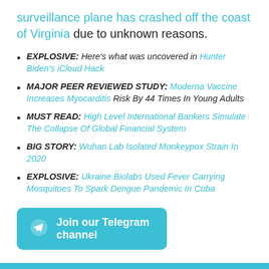surveillance plane has crashed off the coast of Virginia due to unknown reasons.
EXPLOSIVE: Here's what was uncovered in Hunter Biden's iCloud Hack
MAJOR PEER REVIEWED STUDY: Moderna Vaccine Increases Myocarditis Risk By 44 Times In Young Adults
MUST READ: High Level International Bankers Simulate The Collapse Of Global Financial System
BIG STORY: Wuhan Lab Isolated Monkeypox Strain In 2020
EXPLOSIVE: Ukraine Biolabs Used Fever Carrying Mosquitoes To Spark Dengue Pandemic In Cuba
[Figure (other): Join our Telegram channel button with Telegram paper plane icon]